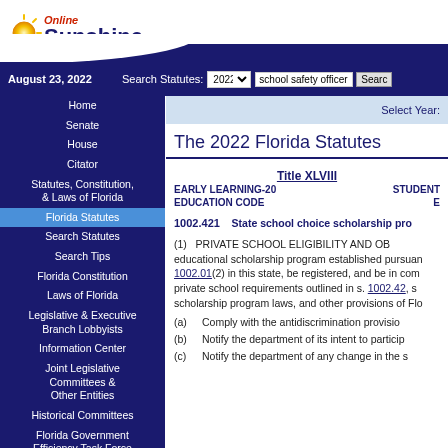[Figure (logo): Online Sunshine logo with sun graphic and navy Sunshine text]
August 23, 2022  Search Statutes: 2022  school safety officer  Search
Home
Senate
House
Citator
Statutes, Constitution, & Laws of Florida
Florida Statutes
Search Statutes
Search Tips
Florida Constitution
Laws of Florida
Legislative & Executive Branch Lobbyists
Information Center
Joint Legislative Committees & Other Entities
Historical Committees
Florida Government Efficiency Task Force
Legislative Employment
Legistore
The 2022 Florida Statutes
Title XLVIII
EARLY LEARNING-20 EDUCATION CODE
STUDENT E
1002.421  State school choice scholarship pro
(1) PRIVATE SCHOOL ELIGIBILITY AND OB educational scholarship program established pursuan 1002.01(2) in this state, be registered, and be in com private school requirements outlined in s. 1002.42, s scholarship program laws, and other provisions of Flo
(a) Comply with the antidiscrimination provisio
(b) Notify the department of its intent to particip
(c) Notify the department of any change in the s